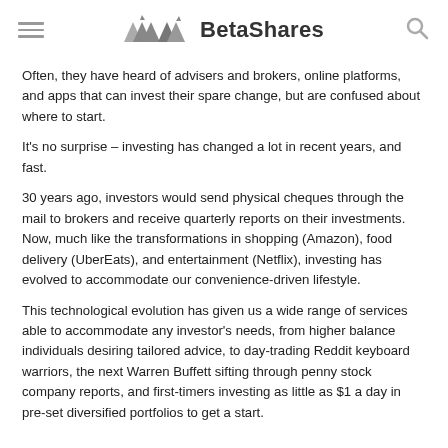BetaShares
Often, they have heard of advisers and brokers, online platforms, and apps that can invest their spare change, but are confused about where to start.
It's no surprise – investing has changed a lot in recent years, and fast.
30 years ago, investors would send physical cheques through the mail to brokers and receive quarterly reports on their investments. Now, much like the transformations in shopping (Amazon), food delivery (UberEats), and entertainment (Netflix), investing has evolved to accommodate our convenience-driven lifestyle.
This technological evolution has given us a wide range of services able to accommodate any investor's needs, from higher balance individuals desiring tailored advice, to day-trading Reddit keyboard warriors, the next Warren Buffett sifting through penny stock company reports, and first-timers investing as little as $1 a day in pre-set diversified portfolios to get a start.